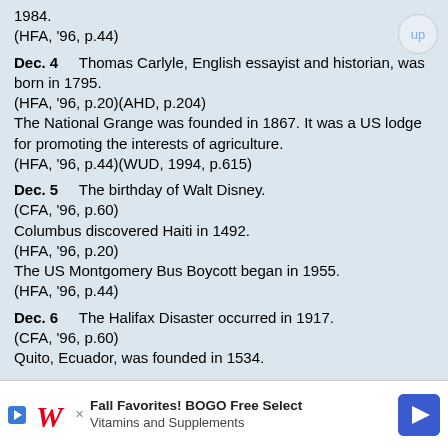1984.
    (HFA, '96, p.44)
Dec. 4    Thomas Carlyle, English essayist and historian, was born in 1795.
    (HFA, '96, p.20)(AHD, p.204)
        The National Grange was founded in 1867. It was a US lodge for promoting the interests of agriculture.
    (HFA, '96, p.44)(WUD, 1994, p.615)
Dec. 5    The birthday of Walt Disney.
    (CFA, '96, p.60)
        Columbus discovered Haiti in 1492.
    (HFA, '96, p.20)
        The US Montgomery Bus Boycott began in 1955.
    (HFA, '96, p.44)
Dec. 6    The Halifax Disaster occurred in 1917.
    (CFA, '96, p.60)
        Quito, Ecuador, was founded in 1534.
[Figure (infographic): Advertisement banner for Walgreens: Fall Favorites! BOGO Free Select Vitamins and Supplements]